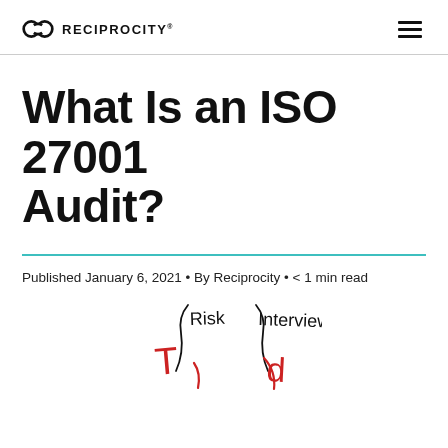RECIPROCITY
What Is an ISO 27001 Audit?
Published January 6, 2021 • By Reciprocity • < 1 min read
[Figure (illustration): Hand-drawn sketch illustration showing concepts related to ISO 27001 audit including 'Risk' label on left side and 'Interviews' label on right side with red handwritten-style text below each, partially visible at bottom of page.]